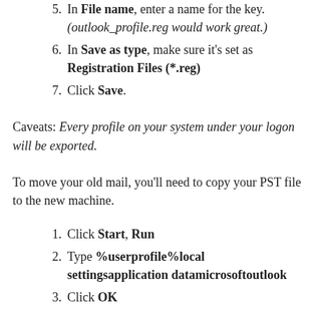5. In File name, enter a name for the key. (outlook_profile.reg would work great.)
6. In Save as type, make sure it's set as Registration Files (*.reg)
7. Click Save.
Caveats: Every profile on your system under your logon will be exported.
To move your old mail, you'll need to copy your PST file to the new machine.
1. Click Start, Run
2. Type %userprofile%local settingsapplication datamicrosoftoutlook
3. Click OK
4. In that folder there will be some *.pst files. Copy